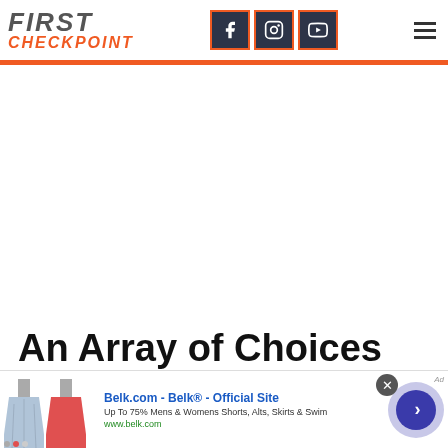FIRST CHECKPOINT — navigation header with social media icons (Facebook, Instagram, YouTube) and hamburger menu
An Array of Choices
[Figure (screenshot): Advertisement banner for Belk.com showing skirts, text 'Belk.com - Belk® - Official Site', 'Up To 75% Mens & Womens Shorts, Alts, Skirts & Swim', 'www.belk.com', with a close button and navigation arrow]